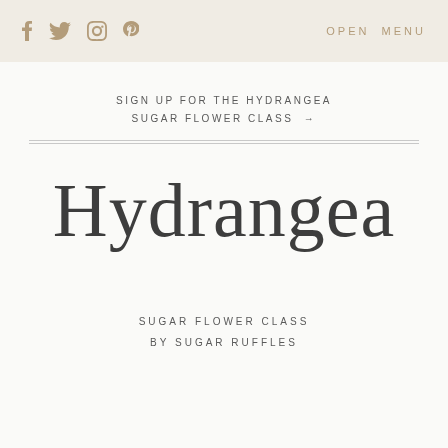f  [twitter]  [instagram]  [pinterest]   OPEN MENU
SIGN UP FOR THE HYDRANGEA SUGAR FLOWER CLASS →
Hydrangea
SUGAR FLOWER CLASS
BY SUGAR RUFFLES